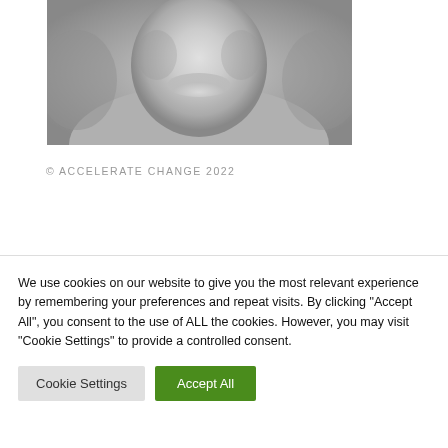[Figure (photo): Black and white photo of a smiling person, cropped to show face and upper body, wearing an open-collar shirt.]
© ACCELERATE CHANGE 2022
We use cookies on our website to give you the most relevant experience by remembering your preferences and repeat visits. By clicking "Accept All", you consent to the use of ALL the cookies. However, you may visit "Cookie Settings" to provide a controlled consent.